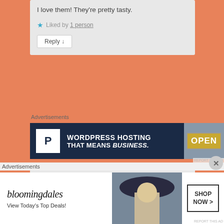I love them! They're pretty tasty.
★ Liked by 1 person
Reply ↓
Advertisements
[Figure (screenshot): WordPress.com ad banner: dark navy background with white 'P' logo box, text 'WORDPRESS HOSTING THAT MEANS BUSINESS.' and OPEN sign photo on right]
[Figure (illustration): Blog comment box with pixel-art space invader avatar icon in blue/purple]
Advertisements
[Figure (screenshot): Bloomingdale's ad banner: white background with stylized 'bloomingdales' text, 'View Today's Top Deals!' subtitle, photo of woman in wide-brim hat, 'SHOP NOW >' button]